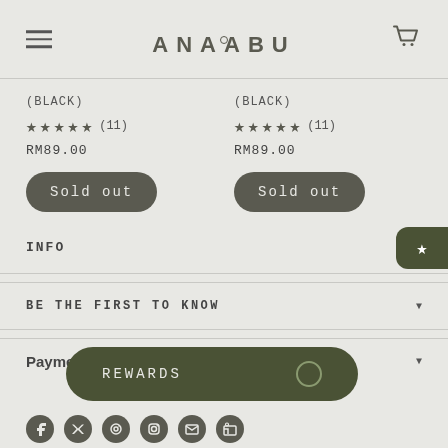ANAABU
(BLACK)
★★★★★ (11)
RM89.00
Sold out
(BLACK)
★★★★★ (11)
RM89.00
Sold out
INFO
BE THE FIRST TO KNOW
Payment
REWARDS